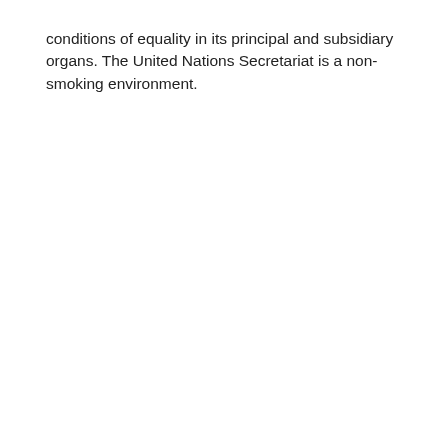conditions of equality in its principal and subsidiary organs. The United Nations Secretariat is a non-smoking environment.